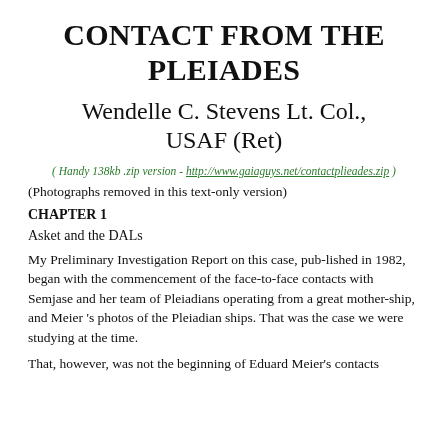CONTACT FROM THE PLEIADES
Wendelle C. Stevens Lt. Col., USAF (Ret)
( Handy 138kb .zip version - http://www.gaiaguys.net/contactplieades.zip )
(Photographs removed in this text-only version)
CHAPTER 1
Asket and the DALs
My Preliminary Investigation Report on this case, pub-lished in 1982, began with the commencement of the face-to-face contacts with Semjase and her team of Pleiadians operating from a great mother-ship, and Meier 's photos of the Pleiadian ships. That was the case we were studying at the time.
That, however, was not the beginning of Eduard Meier's contacts